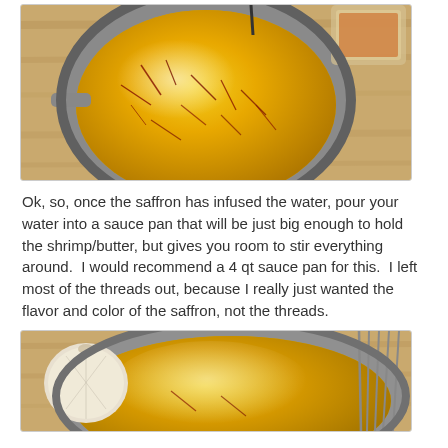[Figure (photo): Overhead view of a silver sauce pan on a wooden cutting board, containing golden/yellow liquid with saffron threads floating in it. A glass container with spices is visible in the upper right corner.]
Ok, so, once the saffron has infused the water, pour your water into a sauce pan that will be just big enough to hold the shrimp/butter, but gives you room to stir everything around.  I would recommend a 4 qt sauce pan for this.  I left most of the threads out, because I really just wanted the flavor and color of the saffron, not the threads.
[Figure (photo): Close-up view of a silver bowl or pan containing golden-yellow liquid (saffron-infused water) on a wooden surface, with a head of garlic on the left and a wire whisk visible on the right.]